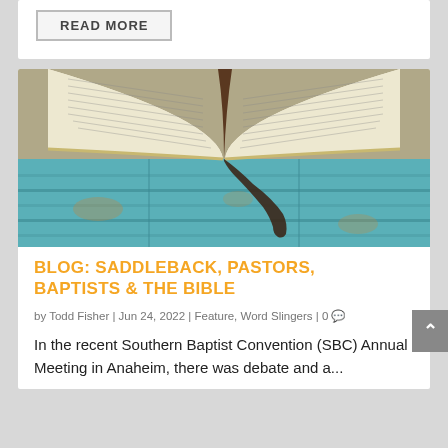READ MORE
[Figure (photo): Open Bible with pages spread, resting on a teal/turquoise weathered wood surface with a leather bookmark strap visible]
BLOG: SADDLEBACK, PASTORS, BAPTISTS & THE BIBLE
by Todd Fisher | Jun 24, 2022 | Feature, Word Slingers | 0
In the recent Southern Baptist Convention (SBC) Annual Meeting in Anaheim, there was debate and a...